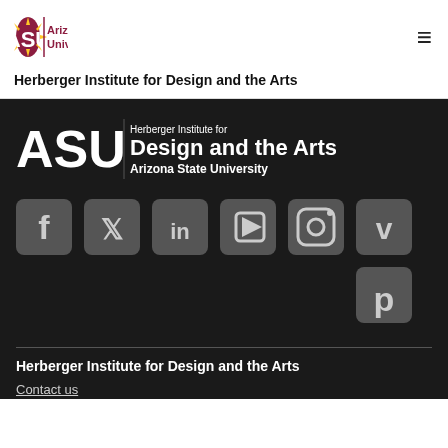[Figure (logo): ASU Arizona State University logo with sunburst icon in maroon/gold, and text 'Arizona State University' in maroon]
Herberger Institute for Design and the Arts
[Figure (logo): ASU Herberger Institute for Design and the Arts footer logo in white on dark background, with 'Arizona State University' below]
[Figure (infographic): Row of social media icons: Facebook, Twitter, LinkedIn, YouTube, Instagram, Vimeo, Pinterest — all dark rounded-square style on dark background]
Herberger Institute for Design and the Arts
Contact us
Contribute
BACK TO TOP